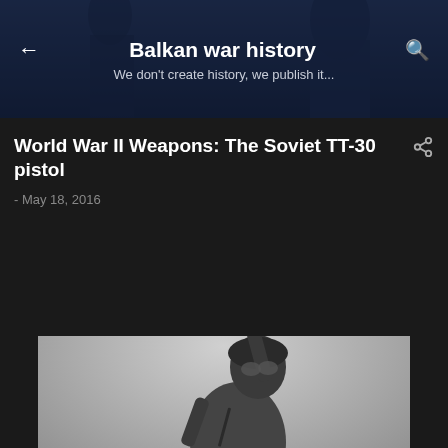Balkan war history
We don't create history, we publish it...
World War II Weapons: The Soviet TT-30 pistol
- May 18, 2016
[Figure (photo): Black and white WWII-era photograph of a Soviet soldier in a leather helmet and goggles raising a pistol (TT-30) in the air with one arm outstretched]